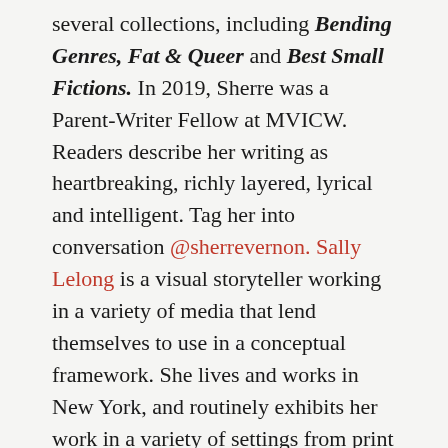several collections, including Bending Genres, Fat & Queer and Best Small Fictions. In 2019, Sherre was a Parent-Writer Fellow at MVICW. Readers describe her writing as heartbreaking, richly layered, lyrical and intelligent. Tag her into conversation @sherrevernon. Sally Lelong is a visual storyteller working in a variety of media that lend themselves to use in a conceptual framework. She lives and works in New York, and routinely exhibits her work in a variety of settings from print to thematic installations to street art.